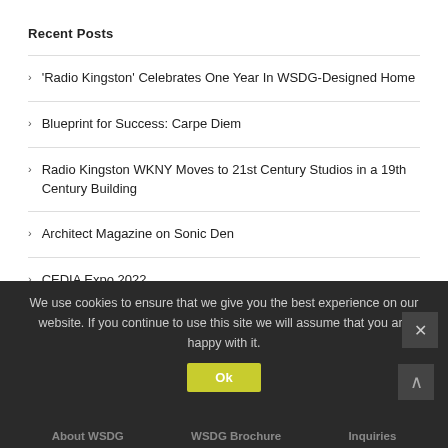Recent Posts
'Radio Kingston' Celebrates One Year In WSDG-Designed Home
Blueprint for Success: Carpe Diem
Radio Kingston WKNY Moves to 21st Century Studios in a 19th Century Building
Architect Magazine on Sonic Den
CEDIA Expo 2022
We use cookies to ensure that we give you the best experience on our website. If you continue to use this site we will assume that you are happy with it.
About WSDG   WSDG Brochure   Inquiries